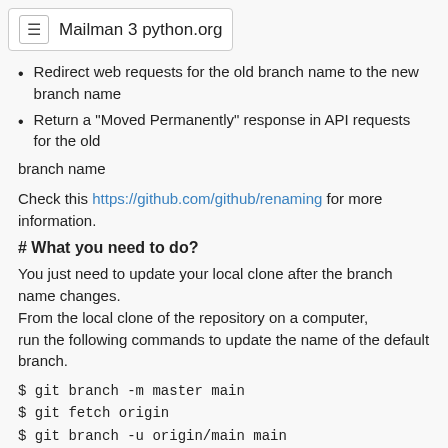≡ Mailman 3 python.org
Redirect web requests for the old branch name to the new branch name
Return a "Moved Permanently" response in API requests for the old
branch name
Check this https://github.com/github/renaming for more information.
# What you need to do?
You just need to update your local clone after the branch name changes.
From the local clone of the repository on a computer,
run the following commands to update the name of the default branch.
$ git branch -m master main
$ git fetch origin
$ git branch -u origin/main main